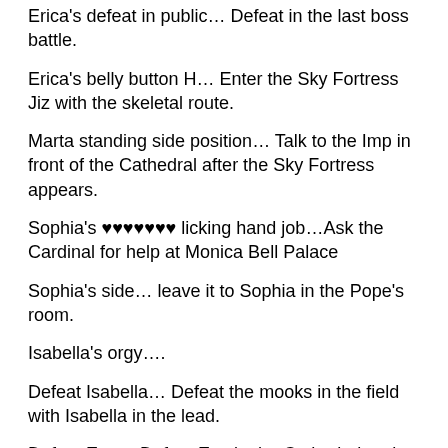Erica's defeat in public… Defeat in the last boss battle.
Erica's belly button H… Enter the Sky Fortress Jiz with the skeletal route.
Marta standing side position… Talk to the Imp in front of the Cathedral after the Sky Fortress appears.
Sophia's ♥♥♥♥♥♥♥ licking hand job…Ask the Cardinal for help at Monica Bell Palace
Sophia's side… leave it to Sophia in the Pope's room.
Isabella's orgy….
Defeat Isabella… Defeat the mooks in the field with Isabella in the lead.
Defeat Eve… Defeat Eve in the Cathedral and head to the Sky Fortress Ziz.